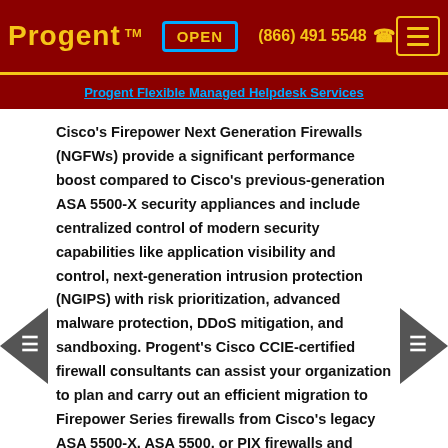Progent™  OPEN  (866) 491 5548  ☎
Progent Flexible Managed Helpdesk Services
Cisco's Firepower Next Generation Firewalls (NGFWs) provide a significant performance boost compared to Cisco's previous-generation ASA 5500-X security appliances and include centralized control of modern security capabilities like application visibility and control, next-generation intrusion protection (NGIPS) with risk prioritization, advanced malware protection, DDoS mitigation, and sandboxing. Progent's Cisco CCIE-certified firewall consultants can assist your organization to plan and carry out an efficient migration to Firepower Series firewalls from Cisco's legacy ASA 5500-X, ASA 5500, or PIX firewalls and show you how to enhance Firepower appliances with Cisco's security services to build and centrally control network ecosystems that include local offices, data centers, and cloud resources.